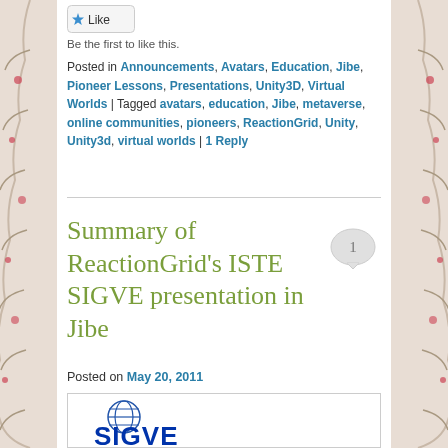[Figure (other): Like button with blue star icon]
Be the first to like this.
Posted in Announcements, Avatars, Education, Jibe, Pioneer Lessons, Presentations, Unity3D, Virtual Worlds | Tagged avatars, education, Jibe, metaverse, online communities, pioneers, ReactionGrid, Unity, Unity3d, virtual worlds | 1 Reply
Summary of ReactionGrid’s ISTE SIGVE presentation in Jibe
Posted on May 20, 2011
[Figure (logo): ISTE SIGVE logo with globe icon and stylized text]